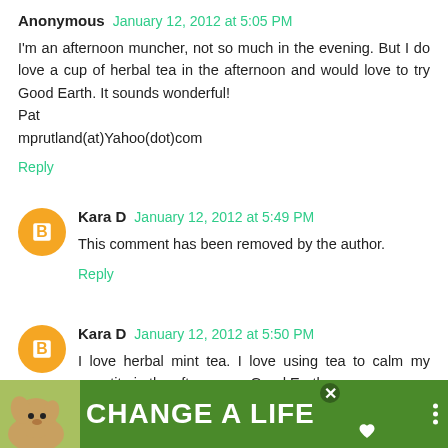Anonymous January 12, 2012 at 5:05 PM
I'm an afternoon muncher, not so much in the evening. But I do love a cup of herbal tea in the afternoon and would love to try Good Earth. It sounds wonderful!
Pat
mprutland(at)Yahoo(dot)com
Reply
Kara D January 12, 2012 at 5:49 PM
This comment has been removed by the author.
Reply
Kara D January 12, 2012 at 5:50 PM
I love herbal mint tea. I love using tea to calm my appetite in the afternoon... Good Earth
[Figure (infographic): Advertisement banner: dog image on left, white text 'CHANGE A LIFE' on green background, close button, heart icon]